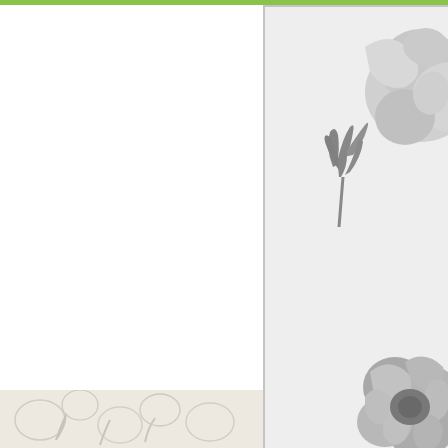[Figure (illustration): Partial view of a floral mask/stencil image on gray background showing watercolor-style flowers and greenery in gray tones, inside a bordered box. Green bar at top. Image is cropped at right edge.]
Golden Days Mask S
The bowing bloom in Here for You Sta to color with the Woodless Watercolor of greenery from the Golden Days Ma
[Figure (illustration): Bottom portion showing a light floral/botanical pattern in pale tones, partially visible at the bottom of the page.]